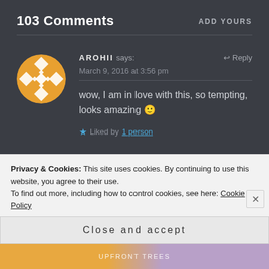103 Comments
ADD YOURS
AROHII says:
March 9, 2016 at 3:56 pm
wow, I am in love with this, so tempting, looks amazing 🙂
★ Liked by 1 person
Privacy & Cookies: This site uses cookies. By continuing to use this website, you agree to their use.
To find out more, including how to control cookies, see here: Cookie Policy
Close and accept